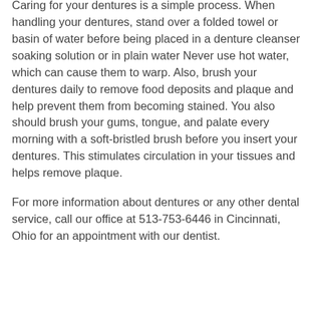Caring for your dentures is a simple process. When handling your dentures, stand over a folded towel or basin of water before being placed in a denture cleanser soaking solution or in plain water Never use hot water, which can cause them to warp. Also, brush your dentures daily to remove food deposits and plaque and help prevent them from becoming stained. You also should brush your gums, tongue, and palate every morning with a soft-bristled brush before you insert your dentures. This stimulates circulation in your tissues and helps remove plaque.
For more information about dentures or any other dental service, call our office at 513-753-6446 in Cincinnati, Ohio for an appointment with our dentist.